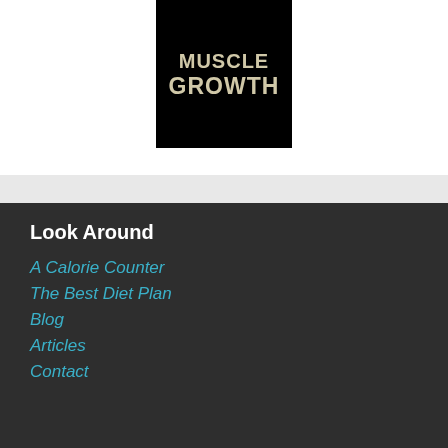[Figure (photo): Black background image with bold 'MUSCLE GROWTH' text in a cracked/textured white font]
Look Around
A Calorie Counter
The Best Diet Plan
Blog
Articles
Contact